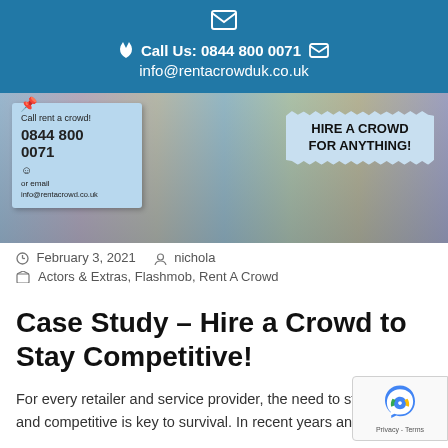Call Us: 0844 800 0071  info@rentacrowduk.co.uk
[Figure (photo): Marketing banner for Rent A Crowd UK showing a group of diverse smiling people with two overlaid sticky-note style banners: one on left reading 'Call rent a crowd! 0844 800 0071 or email info@rentacrowd.co.uk' and one on right reading 'HIRE A CROWD FOR ANYTHING!']
February 3, 2021   nichola
Actors & Extras, Flashmob, Rent A Crowd
Case Study – Hire a Crowd to Stay Competitive!
For every retailer and service provider, the need to stay current and competitive is key to survival. In recent years and